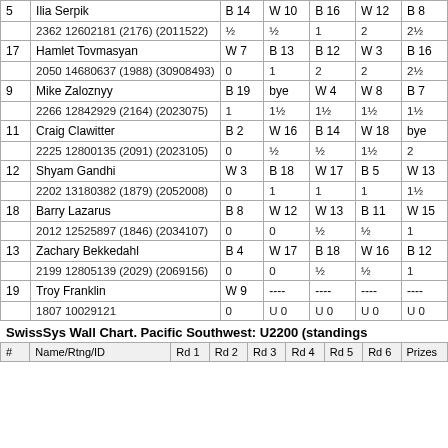| # | Name/Rtng/ID | Rd 1 | Rd 2 | Rd 3 | Rd 4 | Rd 5 |
| --- | --- | --- | --- | --- | --- | --- |
| 5 | Ilia Serpik | B 14 | W 10 | B 16 | W 12 | B 8 |
|  | 2362 12602181 (2176) (2011522) | ½ | ½ | 1 | 2 | 2½ |
| 17 | Hamlet Tovmasyan | W 7 | B 13 | B 12 | W 3 | B 16 |
|  | 2050 14680637 (1988) (30908493) | 0 | 1 | 2 | 2 | 2½ |
| 9 | Mike Zaloznyy | B 19 | bye | W 4 | W 8 | B 7 |
|  | 2266 12842929 (2164) (2023075) | 1 | 1½ | 1½ | 1½ | 1½ |
| 11 | Craig Clawitter | B 2 | W 16 | B 14 | W 18 | bye |
|  | 2225 12800135 (2091) (2023105) | 0 | ½ | ½ | 1½ | 2 |
| 12 | Shyam Gandhi | W 3 | B 18 | W 17 | B 5 | W 13 |
|  | 2202 13180382 (1879) (2052008) | 0 | 1 | 1 | 1 | 1½ |
| 18 | Barry Lazarus | B 8 | W 12 | W 13 | B 11 | W 15 |
|  | 2012 12525897 (1846) (2034107) | 0 | 0 | ½ | ½ | 1 |
| 13 | Zachary Bekkedahl | B 4 | W 17 | B 18 | W 16 | B 12 |
|  | 2199 12805139 (2029) (2069156) | 0 | 0 | ½ | ½ | 1 |
| 19 | Troy Franklin | W 9 | ---- | ---- | ---- | ---- |
|  | 1807 10029121 | 0 | U 0 | U 0 | U 0 | U 0 |
SwissSys Wall Chart. Pacific Southwest: U2200 (standings
| # | Name/Rtng/ID | Rd 1 | Rd 2 | Rd 3 | Rd 4 | Rd 5 | Rd 6 | Prizes |
| --- | --- | --- | --- | --- | --- | --- | --- | --- |